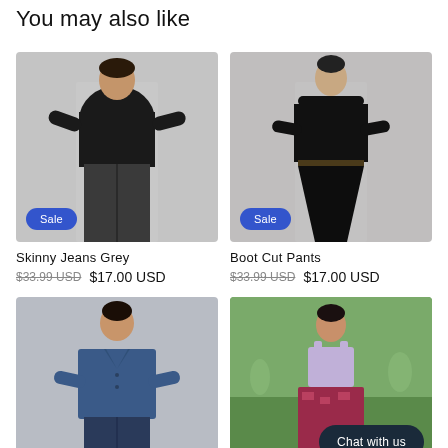You may also like
[Figure (photo): Woman wearing black sweater and dark grey skinny jeans, standing against grey background, with a blue Sale badge]
[Figure (photo): Woman wearing black turtleneck ribbed top and black flare/boot cut pants with a belt, arms crossed, standing against grey background, with a blue Sale badge]
Skinny Jeans Grey
$33.99 USD  $17.00 USD
Boot Cut Pants
$33.99 USD  $17.00 USD
[Figure (photo): Woman in blue denim jacket and jeans, arms crossed, light grey background]
[Figure (photo): Woman in light purple crop top and patterned skirt standing outdoors in a park, with Chat with us dark button overlay]